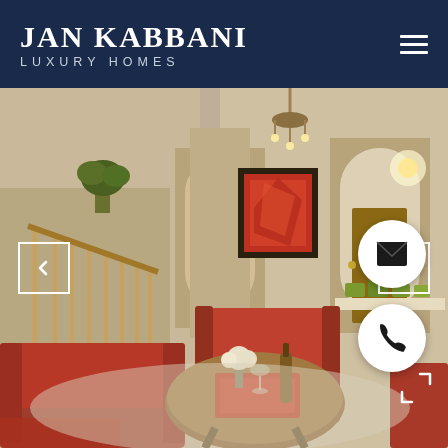JAN KABBANI
LUXURY HOMES
[Figure (photo): Interior photo of a luxury home living room with red armchairs, a round wood coffee table with a tray, wine bottle, and flowers, staircase on the left, arched doorways, and a framed red painting on the wall.]